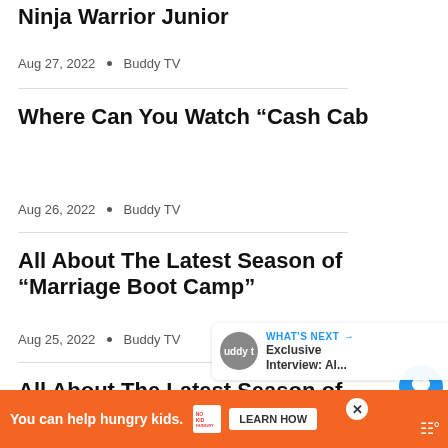Ninja Warrior Junior
Aug 27, 2022 · Buddy TV
Where Can You Watch “Cash Cab
Aug 26, 2022 · Buddy TV
All About The Latest Season of “Marriage Boot Camp”
Aug 25, 2022 · Buddy TV
All About The Latest Season of “N
[Figure (other): Advertisement banner: orange background with text 'You can help hungry kids.' and No Kid Hungry logo and 'LEARN HOW' button]